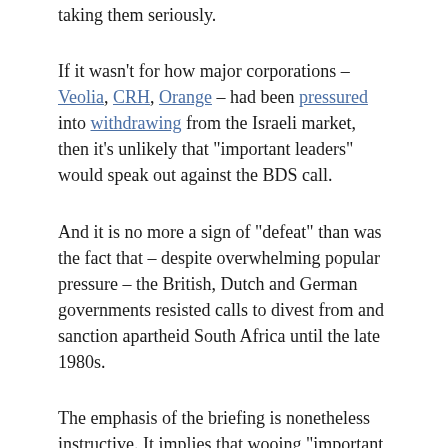taking them seriously.
If it wasn't for how major corporations – Veolia, CRH, Orange – had been pressured into withdrawing from the Israeli market, then it's unlikely that “important leaders” would speak out against the BDS call.
And it is no more a sign of “defeat” than was the fact that – despite overwhelming popular pressure – the British, Dutch and German governments resisted calls to divest from and sanction apartheid South Africa until the late 1980s.
The emphasis of the briefing is nonetheless instructive. It implies that wooing “important leaders” can compensate for the huge sympathy towards the Palestinian plight among ordinary people.
Some of the “important” folk who have engaged with the European Leadership Network may not know that it has